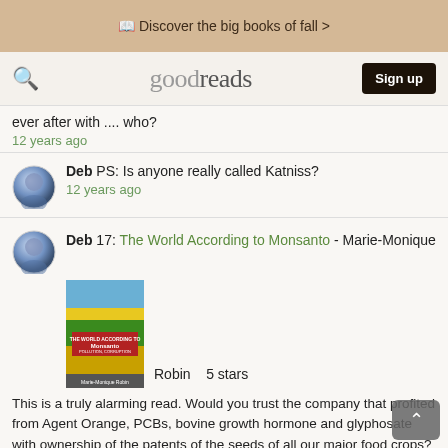Discover the big books of fall >
goodreads Sign up
ever after with .... who?
12 years ago
Deb PS: Is anyone really called Katniss?
12 years ago
Deb 17: The World According to Monsanto - Marie-Monique
[Figure (photo): Book cover of The World According to Monsanto showing yellow field and red badge]
Robin 5 stars
This is a truly alarming read. Would you trust the company that profited from Agent Orange, PCBs, bovine growth hormone and glyphosate with ownership of the patents of the seeds of all our major food crops? I think not. I hope Robin is right to suggest that this company is running out of time, that